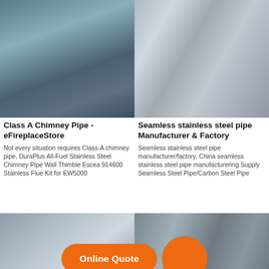[Figure (photo): Steel coil rolls in industrial setting, gray-blue tones]
[Figure (photo): Stainless steel wire coil on spool, white/gray tones]
Class A Chimney Pipe - eFireplaceStore
Not every situation requires Class-A chimney pipe, DuraPlus All-Fuel Stainless Steel Chimney Pipe Wall Thimble Escea 914600 Stainless Flue Kit for EW5000
Seamless stainless steel pipe Manufacturer & Factory
Seamless stainless steel pipe manufacturer/factory, China seamless stainless steel pipe manufacturering Supply Seamless Steel Pipe/Carbon Steel Pipe
[Figure (infographic): Online Quote button overlay with orange pill shape and orange circle]
[Figure (photo): Stainless steel sheet metal on table, gray tones]
[Figure (photo): Bundles of galvanized steel wire coils stacked]
HomeSaver Lifetime
Boiler Stainless Steel